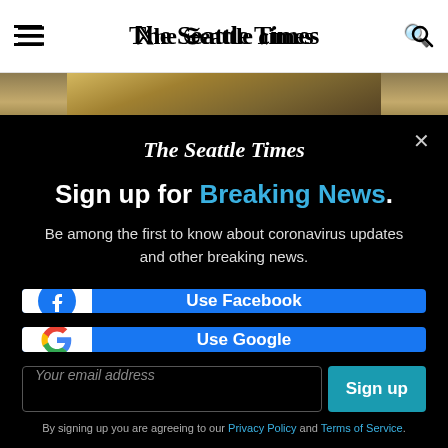The Seattle Times
[Figure (photo): Narrow landscape photograph strip showing misty trees with golden light]
Sign up for Breaking News.
Be among the first to know about coronavirus updates and other breaking news.
[Figure (screenshot): Use Facebook button with Facebook logo icon]
[Figure (screenshot): Use Google button with Google logo icon]
Your email address
Sign up
By signing up you are agreeing to our Privacy Policy and Terms of Service.